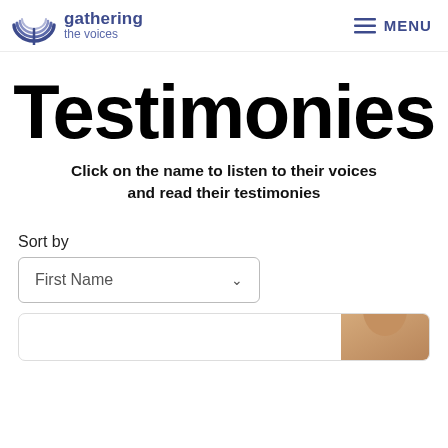gathering the voices | MENU
Testimonies
Click on the name to listen to their voices and read their testimonies
Sort by
First Name
[Figure (photo): Partial view of a person's photo at the bottom of the page, partially cropped]